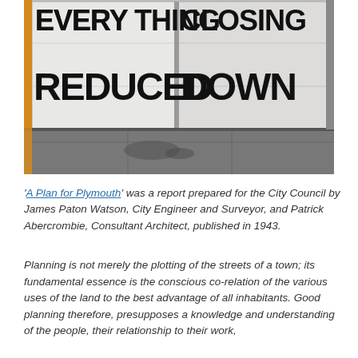[Figure (photo): Photograph of a closed shop front with large handwritten signs reading 'EVERYTHING CLOSING REDUCED DOWN' painted on white paper covering the windows. The left edge shows a yellow shop pillar, and the pavement is visible at the bottom.]
'A Plan for Plymouth' was a report prepared for the City Council by James Paton Watson, City Engineer and Surveyor, and Patrick Abercrombie, Consultant Architect, published in 1943.
Planning is not merely the plotting of the streets of a town; its fundamental essence is the conscious co-relation of the various uses of the land to the best advantage of all inhabitants. Good planning therefore, presupposes a knowledge and understanding of the people, their relationship to their work,